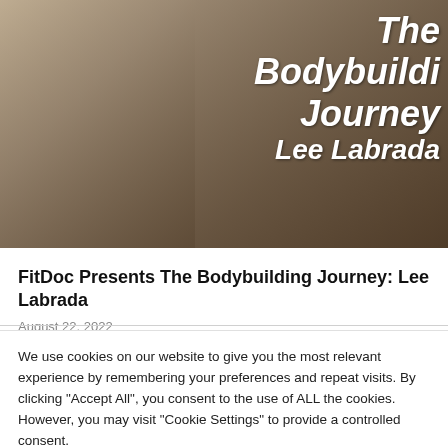[Figure (photo): Book cover image showing a bodybuilder with text 'The Bodybuilding Journey Lee Labrada' overlaid in white italic font on the right side]
FitDoc Presents The Bodybuilding Journey: Lee Labrada
August 22, 2022
We use cookies on our website to give you the most relevant experience by remembering your preferences and repeat visits. By clicking "Accept All", you consent to the use of ALL the cookies. However, you may visit "Cookie Settings" to provide a controlled consent.